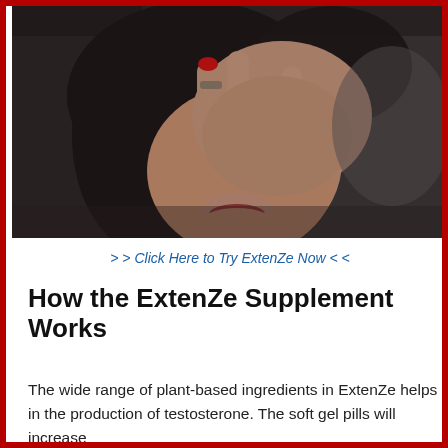[Figure (photo): A woman with dark hair covering her face with her hand, red nails visible, against a dark background.]
> > Click Here to Try ExtenZe Now < <
How the ExtenZe Supplement Works
The wide range of plant-based ingredients in ExtenZe helps in the production of testosterone. The soft gel pills will increase